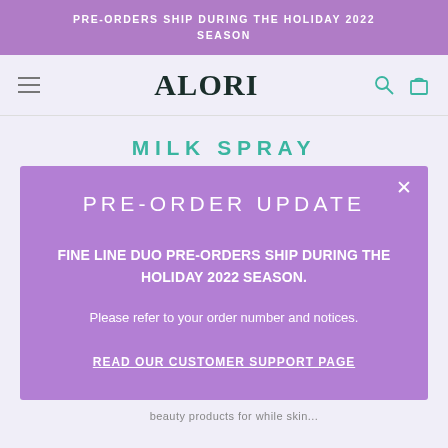PRE-ORDERS SHIP DURING THE HOLIDAY 2022 SEASON
[Figure (screenshot): ALORI brand logo with hamburger menu, search icon, and shopping bag icon in navigation bar]
MILK SPRAY
PRE-ORDER UPDATE
FINE LINE DUO PRE-ORDERS SHIP DURING THE HOLIDAY 2022 SEASON.
Please refer to your order number and notices.
READ OUR CUSTOMER SUPPORT PAGE
beauty products for while skin...